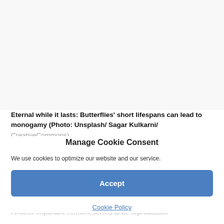[Figure (photo): White/blank image area at top of page (photo of butterflies not visible)]
Eternal while it lasts: Butterflies' short lifespans can lead to monogamy (Photo: Unsplash/ Sagar Kulkarni/ CreativeCommons)
The male's difficulty in caring for many females at the same time may also explain why some of them mate exclusively with a particular mate.
Manage Cookie Consent
We use cookies to optimize our website and our service.
Accept
Cookie Policy
Another important element seems to be reproductive